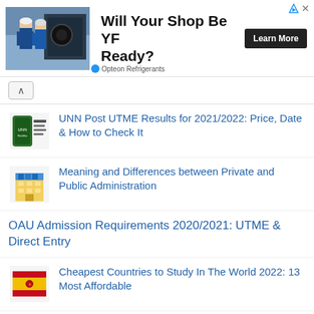[Figure (other): Advertisement banner: mechanics in blue uniforms working on equipment. Text: 'Will Your Shop Be YF Ready?' with a 'Learn More' button. Sponsored by Opteon Refrigerants.]
UNN Post UTME Results for 2021/2022: Price, Date & How to Check It
Meaning and Differences between Private and Public Administration
OAU Admission Requirements 2020/2021: UTME & Direct Entry
Cheapest Countries to Study In The World 2022: 13 Most Affordable
Is WAEC Examination Difficult/Easy? See Answer